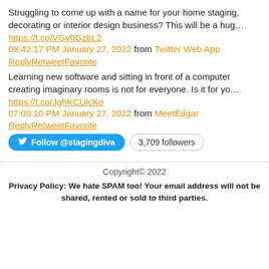Struggling to come up with a name for your home staging, decorating or interior design business? This will be a hug…
https://t.co/VGyfIGzbL2
08:42:17 PM January 27, 2022 from Twitter Web App
ReplyRetweetFavorite
Learning new software and sitting in front of a computer creating imaginary rooms is not for everyone. Is it for yo…
https://t.co/JghKCUlcKo
07:00:10 PM January 27, 2022 from MeetEdgar
ReplyRetweetFavorite
[Figure (other): Follow @stagingdiva button and 3,709 followers badge]
Copyright© 2022
Privacy Policy: We hate SPAM too! Your email address will not be shared, rented or sold to third parties.